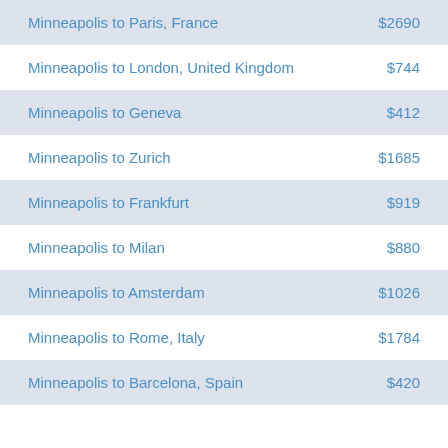Minneapolis to Paris, France  $2690
Minneapolis to London, United Kingdom  $744
Minneapolis to Geneva  $412
Minneapolis to Zurich  $1685
Minneapolis to Frankfurt  $919
Minneapolis to Milan  $880
Minneapolis to Amsterdam  $1026
Minneapolis to Rome, Italy  $1784
Minneapolis to Barcelona, Spain  $420